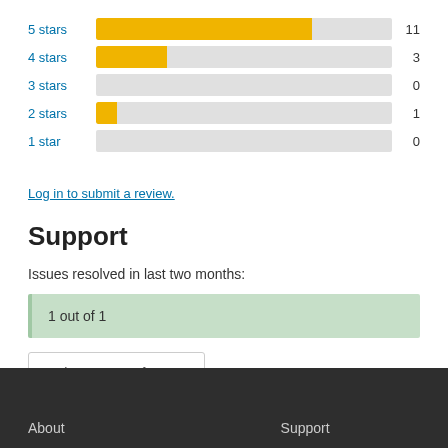[Figure (bar-chart): Star ratings]
Log in to submit a review.
Support
Issues resolved in last two months:
1 out of 1
View support forum
About    Support